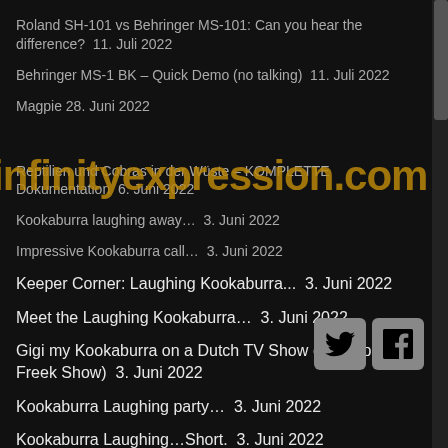Roland SH-101 vs Behringer MS-101: Can you hear the difference? 11. Juli 2022
Behringer MS-1 BK – Quick Demo (no talking) 11. Juli 2022
Magpie 28. Juni 2022
Reptilien und Cobras in der Wüste – KOMPLETTE Dokumentation 6. Juni 2022
Kookaburra laughing away… 3. Juni 2022
Impressive Kookaburra call… 3. Juni 2022
Keeper Corner: Laughing Kookaburra... 3. Juni 2022
Meet the Laughing Kookaburra… 3. Juni 2022
Gigi my Kookaburra on a Dutch TV Show (De Super Freek Show) 3. Juni 2022
Kookaburra Laughing party… 3. Juni 2022
Kookaburra Laughing…Short. 3. Juni 2022
40 Biggest and Most Unique Pets People Actually Own… 2. Juni 2022
10 Most Expensive Birds in the World… 2. Juni 2022